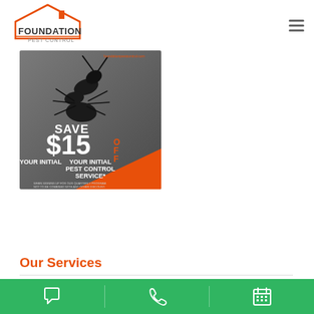[Figure (logo): Foundation Pest Control logo with house icon in orange and text FOUNDATION PEST CONTROL]
[Figure (infographic): Pest control promotional banner with a large ant image on grey background reading SAVE $15 OFF YOUR INITIAL PEST CONTROL SERVICE*. When signing up for our quarterly program. Not to be combined with any other discount.]
Our Services
[Figure (infographic): Green bottom navigation bar with chat icon, phone icon, and calendar icon]